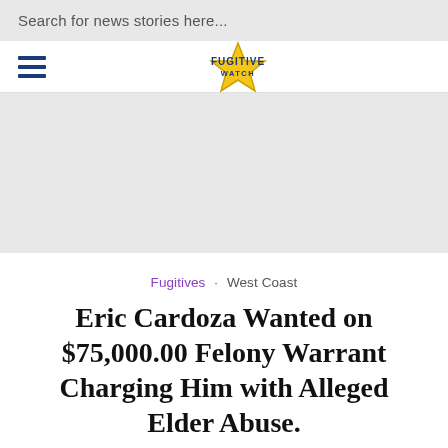Search for news stories here...
[Figure (logo): Fugitive Watch star badge logo with blue text]
[Figure (other): Advertisement area (grey placeholder)]
Fugitives · West Coast
Eric Cardoza Wanted on $75,000.00 Felony Warrant Charging Him with Alleged Elder Abuse.
June 8, 2017 · Add Comment